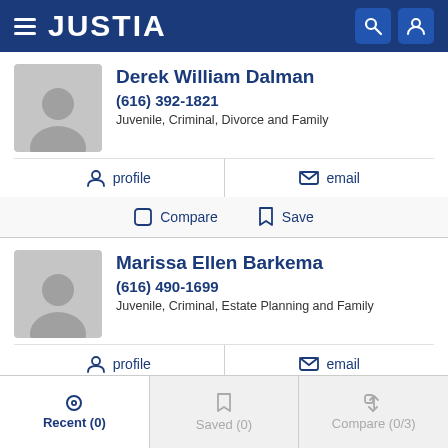JUSTIA
Derek William Dalman
(616) 392-1821
Juvenile, Criminal, Divorce and Family
profile   email
Compare   Save
Marissa Ellen Barkema
(616) 490-1699
Juvenile, Criminal, Estate Planning and Family
profile   email
Recent (0)   Saved (0)   Compare (0/3)